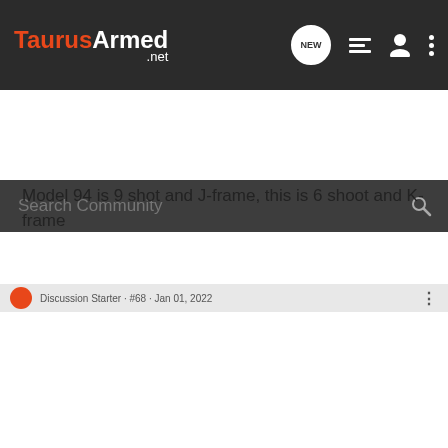TaurusArmed.net — navigation bar with logo, NEW chat icon, list icon, user icon, and more icon
Search Community
Model 94 is 9 shot and J-frame, this is 6 shoot and K-frame
[Figure (photo): Light grey image area containing an advertisement banner for Springfield Armory with text 'SPRINGFIELD ARMORY. UNLOCK GREATNESS' and an image of a pistol on a gold/tan background]